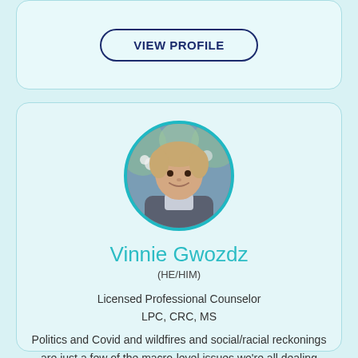VIEW PROFILE
[Figure (photo): Circular profile photo of Vinnie Gwozdz, a man with short hair wearing a grey sweater, smiling, with a blurred floral background. Photo has a teal circular border.]
Vinnie Gwozdz
(HE/HIM)
Licensed Professional Counselor
LPC, CRC, MS
Politics and Covid and wildfires and social/racial reckonings are just a few of the macro-level issues we're all dealing with on top of our own individual life-stresses and anxieties. The human condition